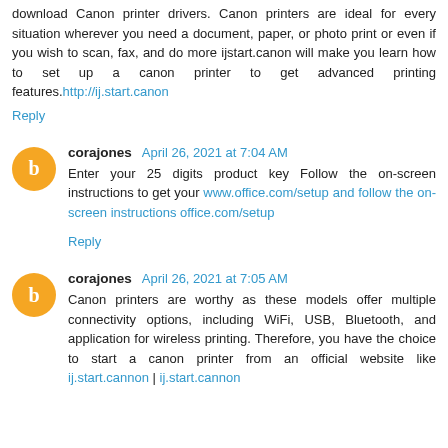download Canon printer drivers. Canon printers are ideal for every situation wherever you need a document, paper, or photo print or even if you wish to scan, fax, and do more ijstart.canon will make you learn how to set up a canon printer to get advanced printing features. http://ij.start.canon
Reply
corajones   April 26, 2021 at 7:04 AM
Enter your 25 digits product key Follow the on-screen instructions to get your www.office.com/setup and follow the on-screen instructions office.com/setup
Reply
corajones   April 26, 2021 at 7:05 AM
Canon printers are worthy as these models offer multiple connectivity options, including WiFi, USB, Bluetooth, and application for wireless printing. Therefore, you have the choice to start a canon printer from an official website like ij.start.cannon | ij.start.cannon